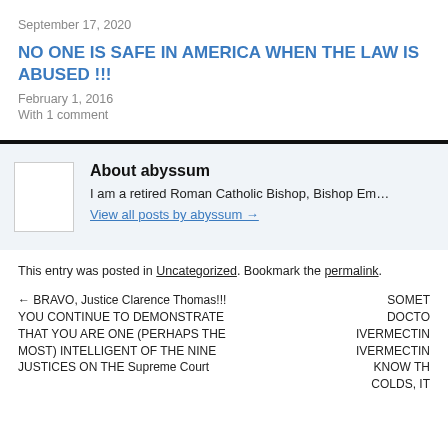September 17, 2020
NO ONE IS SAFE IN AMERICA WHEN THE LAW IS ABUSED !!!
February 1, 2016
With 1 comment
About abyssum
I am a retired Roman Catholic Bishop, Bishop Em…
View all posts by abyssum →
This entry was posted in Uncategorized. Bookmark the permalink.
← BRAVO, Justice Clarence Thomas!!! YOU CONTINUE TO DEMONSTRATE THAT YOU ARE ONE (PERHAPS THE MOST) INTELLIGENT OF THE NINE JUSTICES ON THE Supreme Court
SOMET DOCTO IVERMECTIN IVERMECTIN KNOW TH COLDS, IT